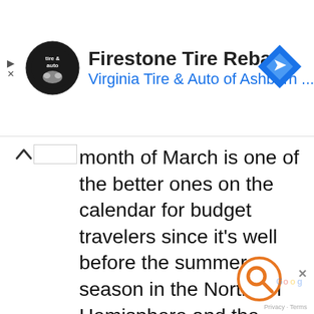[Figure (screenshot): Ad banner for Firestone Tire Rebate from Virginia Tire & Auto of Ashburn with circular logo, navigation arrow icon, play and close controls on left]
The month of March is one of the better ones on the calendar for budget travelers since it's well before the summer season in the Northern Hemisphere and the winter crowds in the tropical areas are starting to thin out at the same time. The best places to visit in March are where you might expect, and in Latin America and Asia you can find perfect weather with off-peak hotel prices and reasonable crowds.